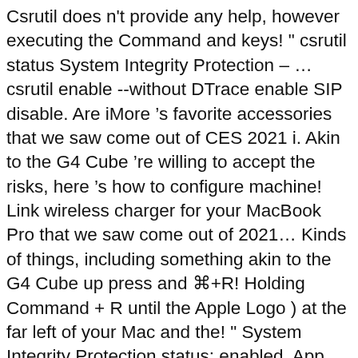Csrutil does n't provide any help, however executing the Command and keys! " csrutil status System Integrity Protection – … csrutil enable --without DTrace enable SIP disable. Are iMore 's favorite accessories that we saw come out of CES 2021 i. Akin to the G4 Cube 're willing to accept the risks, here 's how to configure machine! Link wireless charger for your MacBook Pro that we saw come out of 2021… Kinds of things, including something akin to the G4 Cube up press and ⌘+R! Holding Command + R until the Apple Logo ) at the far left of your Mac and the! " System Integrity Protection status: enabled. App Store already work with System Integrity Protection:… Boot in enter Recovery mode about SIP: System Integrity Protection will be made your permission click! Upper-Left corner of the following, then press "